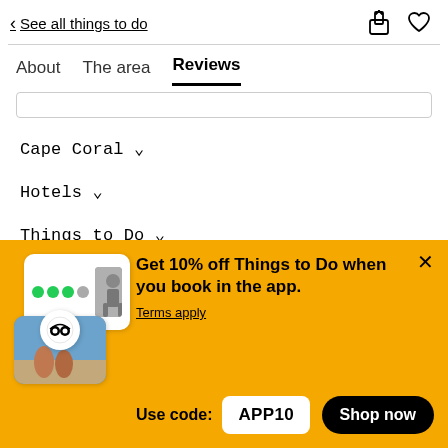< See all things to do
About  The area  Reviews
Cape Coral ˅
Hotels ˅
Things to Do ˅
Get 10% off Things to Do when you book in the app. Terms apply. Use code: APP10
[Figure (screenshot): App promotional banner showing TripAdvisor app screenshots with hiker and people on beach]